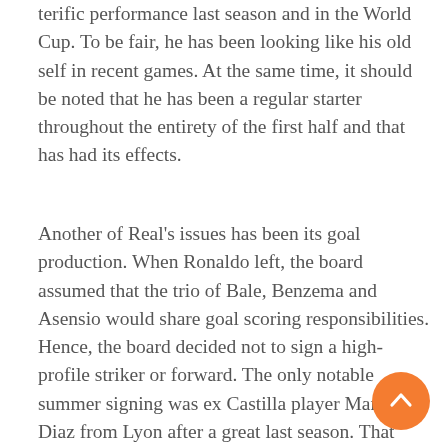terific performance last season and in the World Cup. To be fair, he has been looking like his old self in recent games. At the same time, it should be noted that he has been a regular starter throughout the entirety of the first half and that has had its effects.
Another of Real's issues has been its goal production. When Ronaldo left, the board assumed that the trio of Bale, Benzema and Asensio would share goal scoring responsibilities. Hence, the board decided not to sign a high-profile striker or forward. The only notable summer signing was ex Castilla player Mariano Diaz from Lyon after a great last season. That said, Mariano Diaz was not expected to start and was primarily signed as